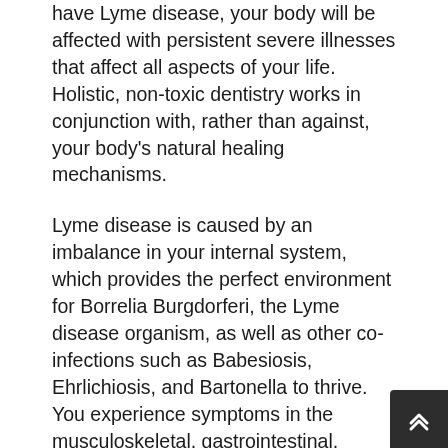have Lyme disease, your body will be affected with persistent severe illnesses that affect all aspects of your life. Holistic, non-toxic dentistry works in conjunction with, rather than against, your body's natural healing mechanisms.
Lyme disease is caused by an imbalance in your internal system, which provides the perfect environment for Borrelia Burgdorferi, the Lyme disease organism, as well as other co-infections such as Babesiosis, Ehrlichiosis, and Bartonella to thrive. You experience symptoms in the musculoskeletal, gastrointestinal, neurological, genitourinary, cardiovascular, or endocrine systems that appear unrelated.
Whatever form Lyme disease takes in your body, it will trigger a cascade of inflammatory responses throughout your body, including your teeth, gums, and mouth.